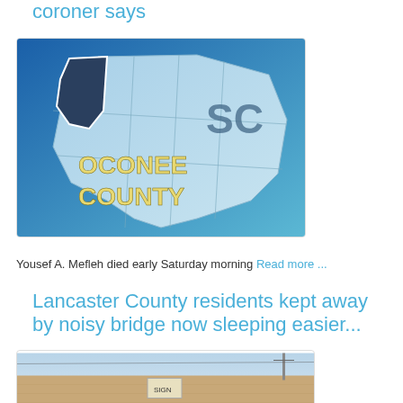coroner says
[Figure (photo): Oconee County South Carolina map graphic with text 'OCONEE COUNTY' and 'SC' label]
Yousef A. Mefleh died early Saturday morning Read more ...
Lancaster County residents kept away by noisy bridge now sleeping easier...
[Figure (photo): Photo of a bridge structure, brown concrete, partially visible]